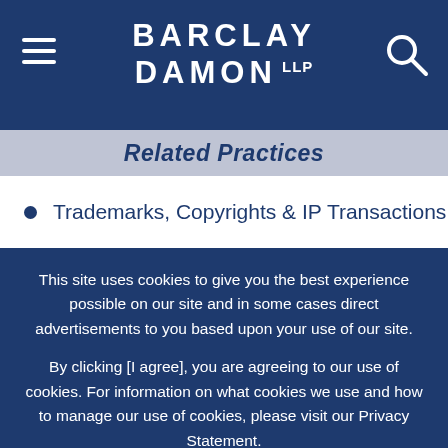BARCLAY DAMON LLP
Related Practices
Trademarks, Copyrights & IP Transactions
This site uses cookies to give you the best experience possible on our site and in some cases direct advertisements to you based upon your use of our site.
By clicking [I agree], you are agreeing to our use of cookies. For information on what cookies we use and how to manage our use of cookies, please visit our Privacy Statement.